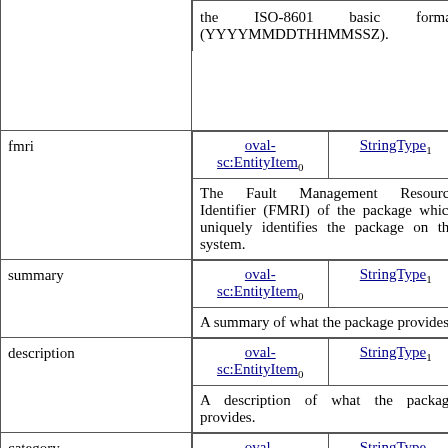| Name | Type/Multiplicity | Description |
| --- | --- | --- |
|  | oval-sc:EntityItem / StringType (0..1) | the ISO-8601 basic format (YYYYMMDDTHHMMSSZ). |
| fmri | oval-sc:EntityItem / StringType (0..1) | The Fault Management Resource Identifier (FMRI) of the package which uniquely identifies the package on the system. |
| summary | oval-sc:EntityItem / StringType (0..1) | A summary of what the package provides. |
| description | oval-sc:EntityItem / StringType (0..1) | A description of what the package provides. |
| category | oval-sc:EntityItem / StringType (0..1) |  |